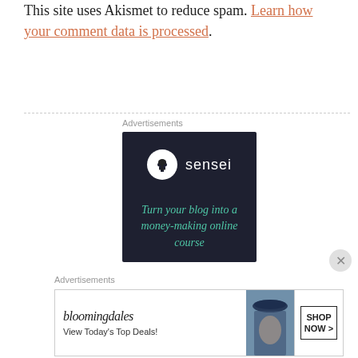This site uses Akismet to reduce spam. Learn how your comment data is processed.
[Figure (other): Sensei advertisement banner: dark navy background with white circle logo containing a bonsai tree icon, 'sensei' text in white, and teal italic text reading 'Turn your blog into a money-making online course']
[Figure (other): Bloomingdale's advertisement banner: logo text 'bloomingdales', tagline 'View Today's Top Deals!', image of woman with hat, and 'SHOP NOW >' button]